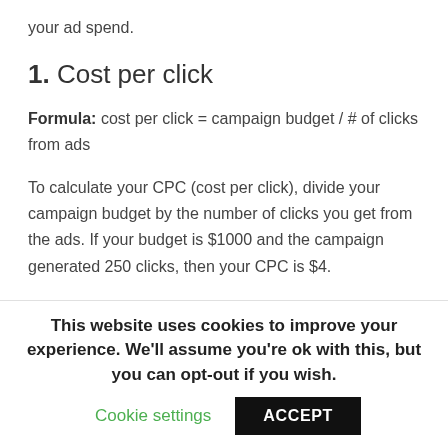your ad spend.
1. Cost per click
Formula: cost per click = campaign budget / # of clicks from ads
To calculate your CPC (cost per click), divide your campaign budget by the number of clicks you get from the ads. If your budget is $1000 and the campaign generated 250 clicks, then your CPC is $4.
This website uses cookies to improve your experience. We'll assume you're ok with this, but you can opt-out if you wish.
Cookie settings
ACCEPT